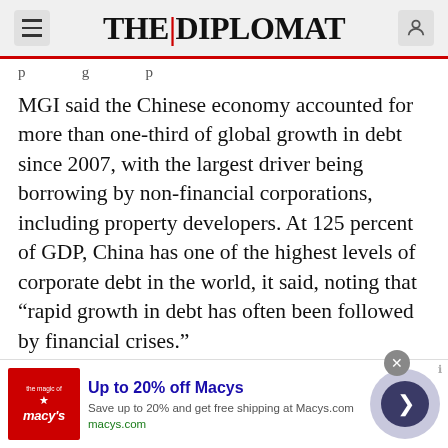THE DIPLOMAT
p g p
MGI said the Chinese economy accounted for more than one-third of global growth in debt since 2007, with the largest driver being borrowing by non-financial corporations, including property developers. At 125 percent of GDP, China has one of the highest levels of corporate debt in the world, it said, noting that “rapid growth in debt has often been followed by financial crises.”
ADVERTISEMENT
[Figure (screenshot): Advertisement banner for Macys: Up to 20% off Macys. Save up to 20% and get free shipping at Macys.com. macys.com]